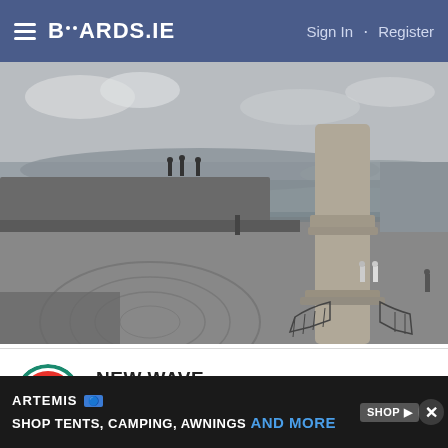BOARDS.IE  Sign In · Register
[Figure (photo): Black and white photograph of a harbour pier with a large stone column/pillar in the center, people walking on the pier, a railing around the column base, water and hills in the background, and a small boat visible on the right side of the water.]
NEW WAVE
Registered Users
Posts: 770  ★★★
[Figure (screenshot): Advertisement bar: ARTEMIS logo with blue badge, text 'SHOP TENTS, CAMPING, AWNINGS AND MORE' with 'AND MORE' in blue, shop and play buttons on the right, and an X close button on the far right.]